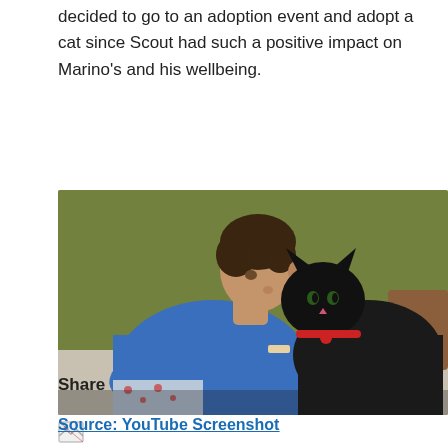decided to go to an adoption event and adopt a cat since Scout had such a positive impact on Marino's and his wellbeing.
[Figure (photo): A young man in a blue t-shirt leaning toward a black cat, nose to nose, on a bed. Background is an olive/green wall. The man is wearing pajama pants with a red pattern.]
[Figure (photo): Broken/missing image icon (small thumbnail)]
Share
Source: YouTube Screenshot